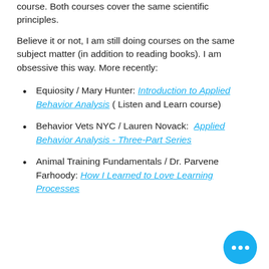course. Both courses cover the same scientific principles.
Believe it or not, I am still doing courses on the same subject matter (in addition to reading books). I am obsessive this way. More recently:
Equiosity / Mary Hunter: Introduction to Applied Behavior Analysis ( Listen and Learn course)
Behavior Vets NYC / Lauren Novack:  Applied Behavior Analysis - Three-Part Series
Animal Training Fundamentals / Dr. Parvene Farhoody: How I Learned to Love Learning Processes